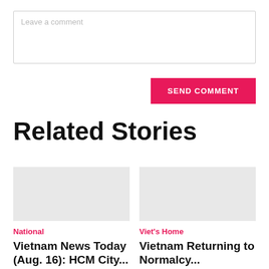Leave a comment
SEND COMMENT
Related Stories
National
Vietnam News Today (Aug. 16): HCM City...
Viet's Home
Vietnam Returning to Normalcy...